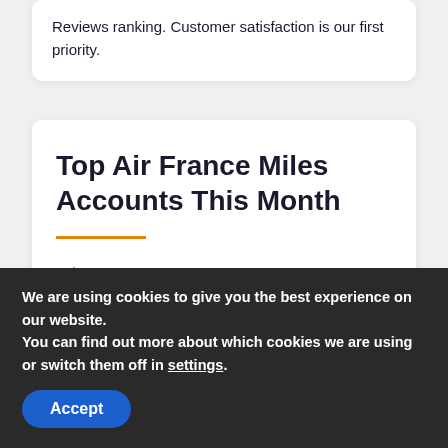Reviews ranking. Customer satisfaction is our first priority.
Top Air France Miles Accounts This Month
Rob O – 500k Air France Miles
Jon H – 400k Air France Miles
We are using cookies to give you the best experience on our website.
You can find out more about which cookies we are using or switch them off in settings.
Accept